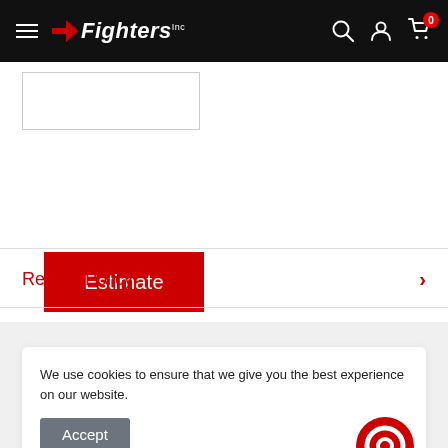Fighters Inc - navigation header with logo, search, account, and cart icons
[Figure (screenshot): White input/text box with border]
Estimate
Refund Policy
We use cookies to ensure that we give you the best experience on our website.
Accept